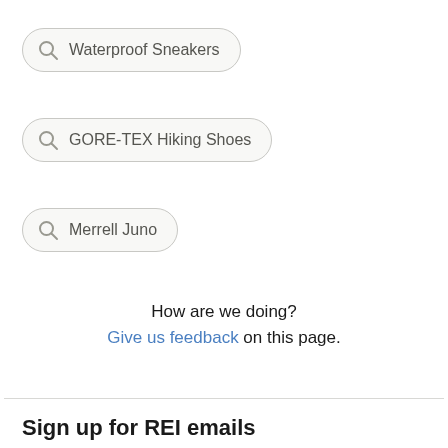Waterproof Sneakers
GORE-TEX Hiking Shoes
Merrell Juno
How are we doing?
Give us feedback on this page.
Sign up for REI emails